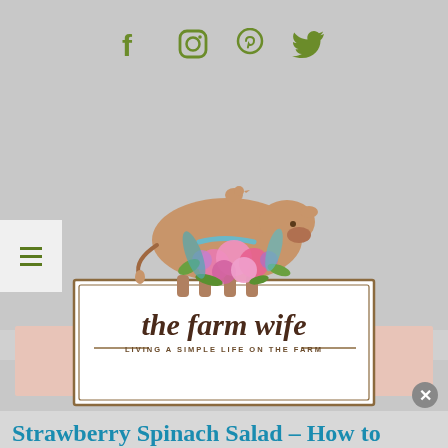[Figure (logo): Social media icons: Facebook, Instagram, Pinterest, Twitter in olive green]
[Figure (logo): The Farm Wife blog logo with a watercolor cow, flowers, and text 'the farm wife - LIVING A SIMPLE LIFE ON THE FARM']
[Figure (other): Hamburger menu icon on left side]
SUBSCRIBE
Strawberry Spinach Salad - How to